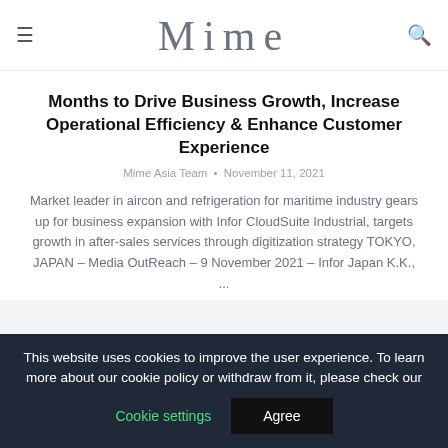Mime
Months to Drive Business Growth, Increase Operational Efficiency & Enhance Customer Experience
Mime Asia Team • November 11, 2021
Market leader in aircon and refrigeration for maritime industry gears up for business expansion with Infor CloudSuite Industrial, targets growth in after-sales services through digitization strategy TOKYO, JAPAN – Media OutReach – 9 November 2021 – Infor Japan K.K., ...
This website uses cookies to improve the user experience. To learn more about our cookie policy or withdraw from it, please check our Cookie settings Agree